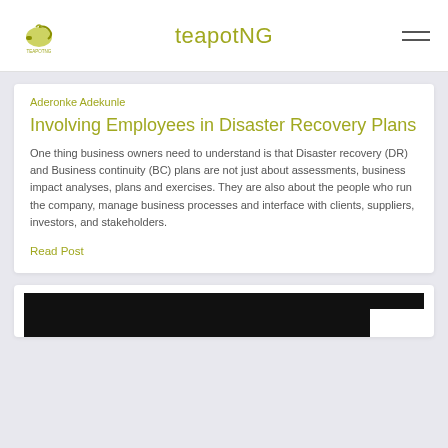teapotNG
Aderonke Adekunle
Involving Employees in Disaster Recovery Plans
One thing business owners need to understand is that Disaster recovery (DR) and Business continuity (BC) plans are not just about assessments, business impact analyses, plans and exercises. They are also about the people who run the company, manage business processes and interface with clients, suppliers, investors, and stakeholders.
Read Post
[Figure (photo): Dark image card at the bottom of the page, partially visible]